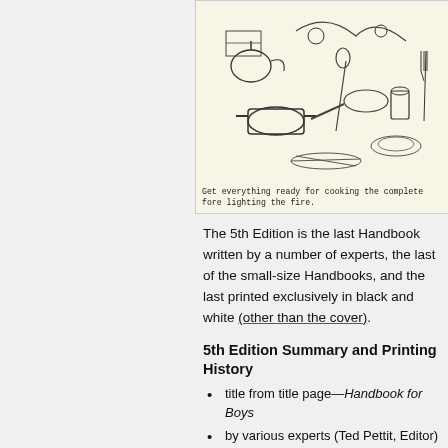[Figure (illustration): A pen-and-ink illustration showing cooking gear and equipment spread out, depicting outdoor cooking preparation scene from a Boy Scout handbook.]
Get everything ready for cooking the complete fore lighting the fire.
The 5th Edition is the last Handbook written by a number of experts, the last of the small-size Handbooks, and the last printed exclusively in black and white (other than the cover).
5th Edition Summary and Printing History
title from title page—Handbook for Boys
by various experts (Ted Pettit, Editor)
cover art by Don Ross (definitely the first cover; apparently also the second cover)
1948-1959 (11 years)
6,405,000 copies printed (average 582,272 copies printed per year)